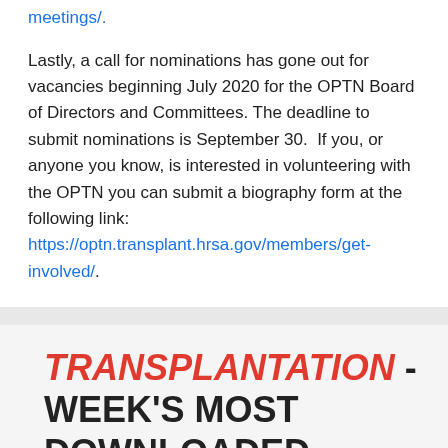meetings/.
Lastly, a call for nominations has gone out for vacancies beginning July 2020 for the OPTN Board of Directors and Committees. The deadline to submit nominations is September 30. If you, or anyone you know, is interested in volunteering with the OPTN you can submit a biography form at the following link: https://optn.transplant.hrsa.gov/members/get-involved/.
TRANSPLANTATION - WEEK'S MOST DOWNLOADED PAPER
Transplantation @TransplantJnl · Jul 18